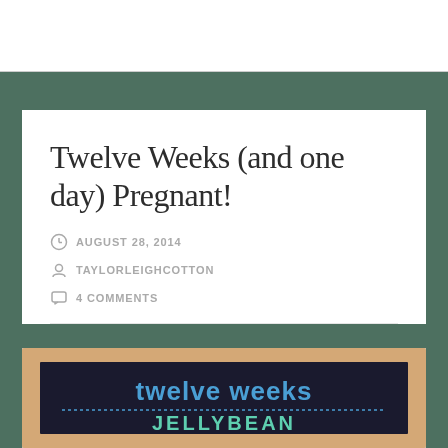Twelve Weeks (and one day) Pregnant!
AUGUST 28, 2014
TAYLORLEIGHCOTTON
4 COMMENTS
[Figure (photo): A framed chalkboard sign on carpet reading 'twelve weeks' in blue chalk lettering, with additional text below partially visible reading what appears to be 'JELLYBEAN']